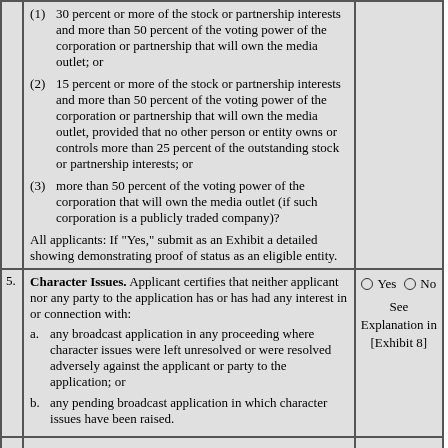|  | Content | Response |
| --- | --- | --- |
|  | (1) 30 percent or more of the stock or partnership interests and more than 50 percent of the voting power of the corporation or partnership that will own the media outlet; or
(2) 15 percent or more of the stock or partnership interests and more than 50 percent of the voting power of the corporation or partnership that will own the media outlet, provided that no other person or entity owns or controls more than 25 percent of the outstanding stock or partnership interests; or
(3) more than 50 percent of the voting power of the corporation that will own the media outlet (if such corporation is a publicly traded company)?
All applicants: If "Yes," submit as an Exhibit a detailed showing demonstrating proof of status as an eligible entity. |  |
| 5. | Character Issues. Applicant certifies that neither applicant nor any party to the application has or has had any interest in or connection with:
a. any broadcast application in any proceeding where character issues were left unresolved or were resolved adversely against the applicant or party to the application; or
b. any pending broadcast application in which character issues have been raised. | Yes No
See Explanation in [Exhibit 8] |